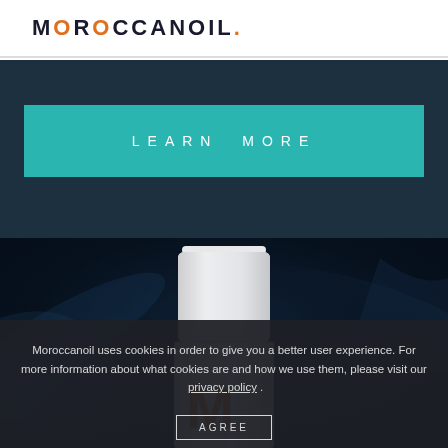MOROCCANOIL.
[Figure (other): Teal 'LEARN MORE' button on dark navy background]
[Figure (photo): Moroccanoil product bottle (white/silver container with orange M logo) against dark blue swirling hair background]
Moroccanoil uses cookies in order to give you a better user experience. For more information about what cookies are and how we use them, please visit our privacy policy .
AGREE